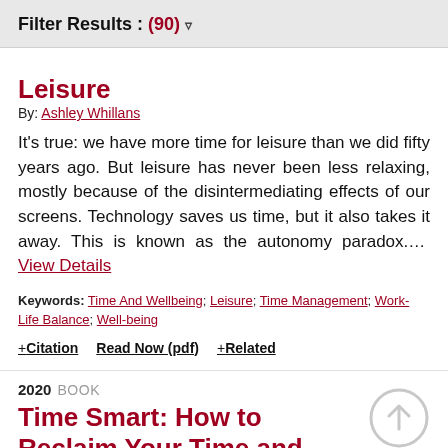Filter Results : (90) ▼
Leisure
By: Ashley Whillans
It's true: we have more time for leisure than we did fifty years ago. But leisure has never been less relaxing, mostly because of the disintermediating effects of our screens. Technology saves us time, but it also takes it away. This is known as the autonomy paradox.... View Details
Keywords: Time And Wellbeing; Leisure; Time Management; Work-Life Balance; Well-being
+ Citation   Read Now (pdf)   + Related
2020  BOOK
Time Smart: How to Reclaim Your Time and Live a Happier Life